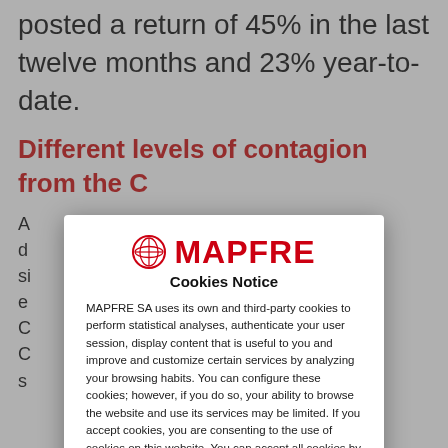posted a return of 45% in the last twelve months and 23% year-to-date.
Different levels of contagion from the C
A ... es d ... a si ... ur e ... of C ... d C ... nt s ...
[Figure (other): MAPFRE Cookies Notice modal dialog with MAPFRE logo, cookie consent text, links to Configure cookies, Privacy Policy and Cookies Policy, and a red Accept button.]